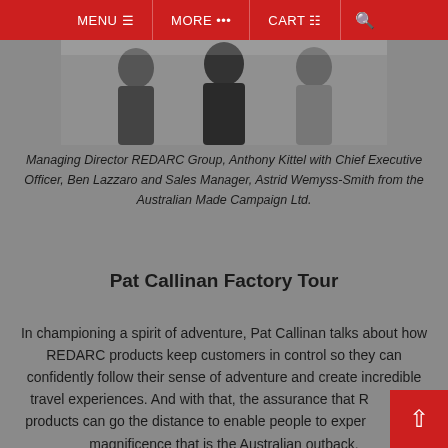MENU   MORE ...   CART
[Figure (photo): Photo of Managing Director REDARC Group Anthony Kittel with Chief Executive Officer Ben Lazzaro and Sales Manager Astrid Wemyss-Smith from the Australian Made Campaign Ltd.]
Managing Director REDARC Group, Anthony Kittel with Chief Executive Officer, Ben Lazzaro and Sales Manager, Astrid Wemyss-Smith from the Australian Made Campaign Ltd.
Pat Callinan Factory Tour
In championing a spirit of adventure, Pat Callinan talks about how REDARC products keep customers in control so they can confidently follow their sense of adventure and create incredible travel experiences. And with that, the assurance that REDARC products can go the distance to enable people to experience the magnificence that is the Australian outback.